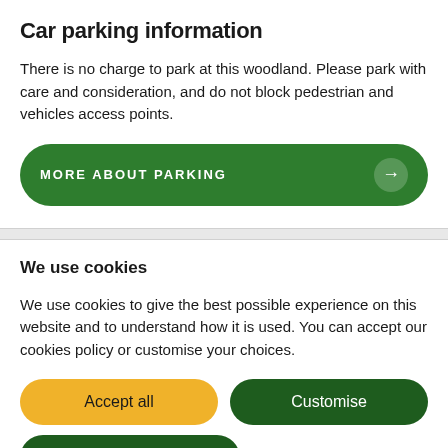Car parking information
There is no charge to park at this woodland. Please park with care and consideration, and do not block pedestrian and vehicles access points.
MORE ABOUT PARKING →
We use cookies
We use cookies to give the best possible experience on this website and to understand how it is used. You can accept our cookies policy or customise your choices.
Accept all
Customise
Deny